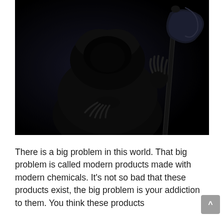[Figure (photo): A dark, ominous photo of the Grim Reaper figure in a black hooded cloak, holding a scythe with a skeletal hand visible, set against a completely black background.]
There is a big problem in this world. That big problem is called modern products made with modern chemicals. It's not so bad that these products exist, the big problem is your addiction to them. You think these products